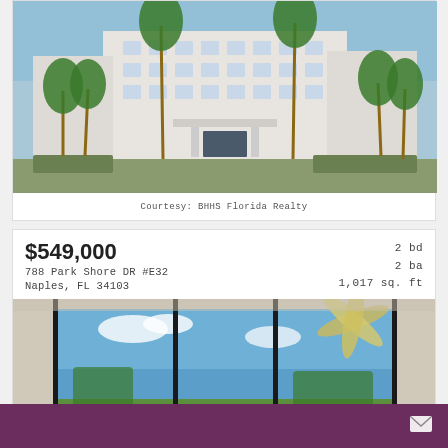[Figure (photo): Exterior photo of a white multi-story condominium building with palm trees and a circular driveway]
Courtesy: BHHS Florida Realty
$549,000
788 Park Shore DR #E32
Naples, FL 34103
2 bd
2 ba
1,017 sq. ft
[Figure (photo): Interior photo of a screened lanai/balcony with blue wicker furniture, ceiling fan, and golf course view]